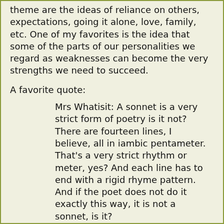theme are the ideas of reliance on others, expectations, going it alone, love, family, etc. One of my favorites is the idea that some of the parts of our personalities we regard as weaknesses can become the very strengths we need to succeed.
A favorite quote:
Mrs Whatisit: A sonnet is a very strict form of poetry is it not? There are fourteen lines, I believe, all in iambic pentameter. That's a very strict rhythm or meter, yes? And each line has to end with a rigid rhyme pattern. And if the poet does not do it exactly this way, it is not a sonnet, is it?
Calvin: You mean you're comparing our lives to a sonnet? A strict form, but freedom within it?
Mrs Whatsit: Yes. You're given the form, but you have to write the sonnet yourself. What you say is completely up to you.